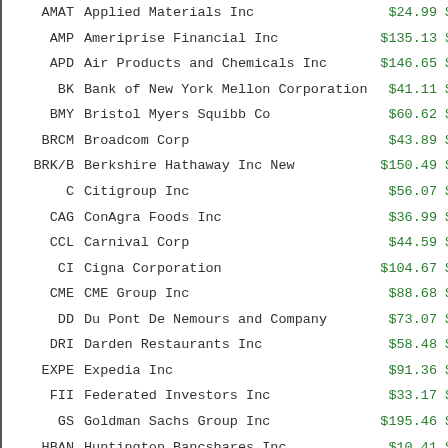| Ticker | Company Name | Price |  |
| --- | --- | --- | --- |
| AMAT | Applied Materials Inc | $24.99 | $ |
| AMP | Ameriprise Financial Inc | $135.13 | $ |
| APD | Air Products and Chemicals Inc | $146.65 | $ |
| BK | Bank of New York Mellon Corporation | $41.11 | $ |
| BMY | Bristol Myers Squibb Co | $60.62 | $ |
| BRCM | Broadcom Corp | $43.89 | $ |
| BRK/B | Berkshire Hathaway Inc New | $150.49 | $ |
| C | Citigroup Inc | $56.07 | $ |
| CAG | ConAgra Foods Inc | $36.99 | $ |
| CCL | Carnival Corp | $44.59 | $ |
| CI | Cigna Corporation | $104.67 | $ |
| CME | CME Group Inc | $88.68 | $ |
| DD | Du Pont De Nemours and Company | $73.07 | $ |
| DRI | Darden Restaurants Inc | $58.48 | $ |
| EXPE | Expedia Inc | $91.36 | $ |
| FII | Federated Investors Inc | $33.17 | $ |
| GS | Goldman Sachs Group Inc | $195.46 | $ |
| HBAN | Huntington Bancshares Inc | $10.41 | $ |
| HCA | HCA Holdings Inc | $74.00 | $ |